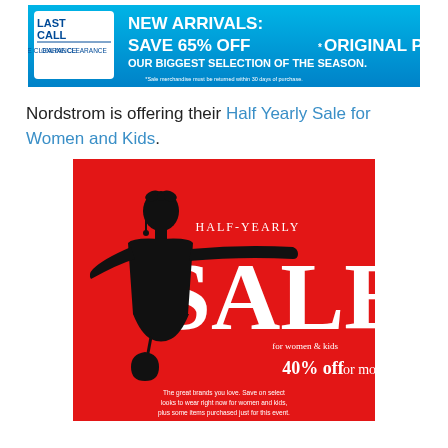[Figure (illustration): Last Call Online Clearance banner ad: blue background with white text 'NEW ARRIVALS: SAVE 65% OFF* ORIGINAL PRICES - OUR BIGGEST SELECTION OF THE SEASON.' with Last Call logo on left.]
Nordstrom is offering their Half Yearly Sale for Women and Kids.
[Figure (illustration): Nordstrom Half-Yearly Sale advertisement with red background, black silhouette of a fashionable woman, large white 'SALE' text, 'for women & kids', '40% off or more!' and small print about great brands.]